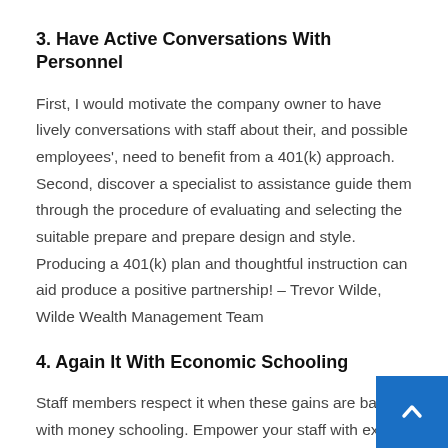3. Have Active Conversations With Personnel
First, I would motivate the company owner to have lively conversations with staff about their, and possible employees', need to benefit from a 401(k) approach. Second, discover a specialist to assistance guide them through the procedure of evaluating and selecting the suitable prepare and prepare design and style. Producing a 401(k) plan and thoughtful instruction can aid produce a positive partnership! – Trevor Wilde, Wilde Wealth Management Team
4. Again It With Economic Schooling
Staff members respect it when these gains are backed with money schooling. Empower your staff with exp so they can optimize this reward and thoroughly prepare for retirement. It is a good way to display that you